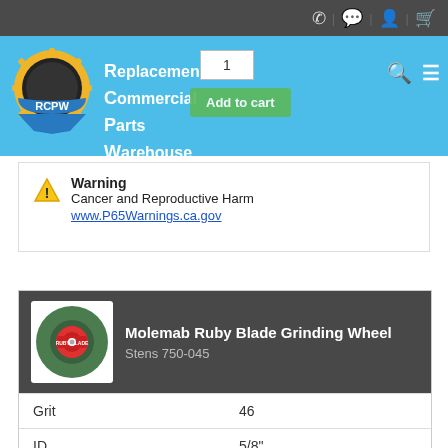RCPW - Replacement Commercial Parts Warehouse
[Figure (logo): RCPW logo - circular gear/wheel emblem with RCPW text on a banner]
Replacement Commercial Parts Warehouse
Warning
Cancer and Reproductive Harm
www.P65Warnings.ca.gov
Molemab Ruby Blade Grinding Wheel
Stens 750-045
| Property | Value |
| --- | --- |
| Grit | 46 |
| ID | 5/8" |
| Material | Ruby |
| Max RPM | 4234 |